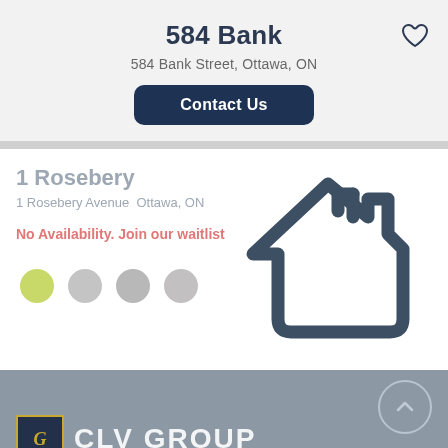584 Bank
584 Bank Street, Ottawa, ON
Contact Us
1 Rosebery
1 Rosebery Avenue  Ottawa, ON
No Availability. Join our waitlist
[Figure (illustration): House outline icon in dark blue-grey, overlaid on the listing card]
CLV GROUP